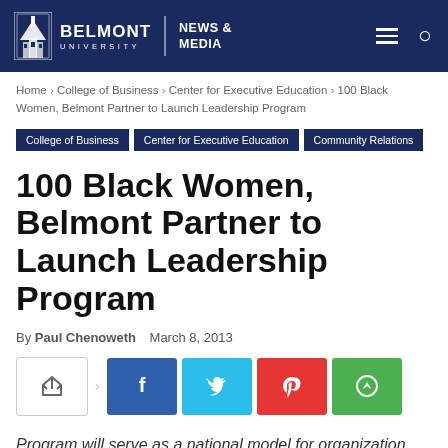Belmont University | NEWS & MEDIA
Home › College of Business › Center for Executive Education › 100 Black Women, Belmont Partner to Launch Leadership Program
College of Business
Center for Executive Education
Community Relations
100 Black Women, Belmont Partner to Launch Leadership Program
By Paul Chenoweth   March 8, 2013
[Figure (other): Social share buttons: native share, Facebook, Twitter, Pinterest, WhatsApp]
Program will serve as a national model for organization